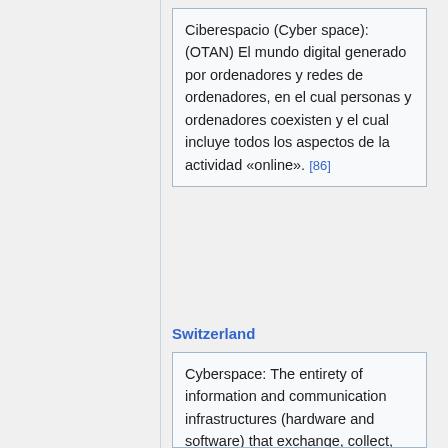Ciberespacio (Cyber space): (OTAN) El mundo digital generado por ordenadores y redes de ordenadores, en el cual personas y ordenadores coexisten y el cual incluye todos los aspectos de la actividad «online». [86]
Switzerland
Cyberspace: The entirety of information and communication infrastructures (hardware and software) that exchange, collect, store or process data or convert…